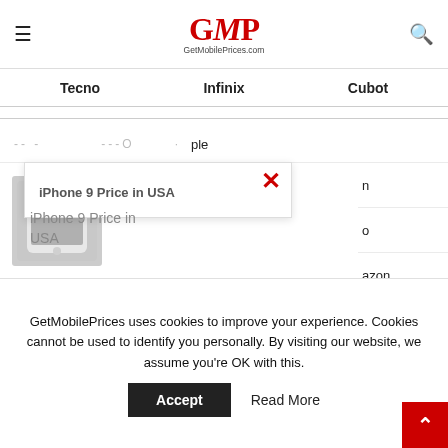GetMobilePrices.com
Tecno   Infinix   Cubot
[Figure (screenshot): iPhone 9 price listing card with popup overlay showing close (X) button]
iPhone 9 Price in USA
GetMobilePrices uses cookies to improve your experience. Cookies cannot be used to identify you personally. By visiting our website, we assume you're OK with this.
Accept   Read More